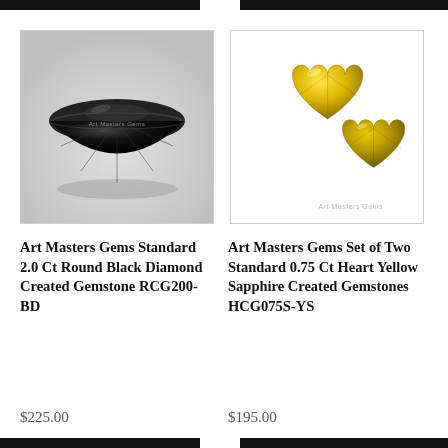[Figure (photo): Black round diamond gemstone on white/gray gradient background with 'Art Masters Gems' watermark in center]
[Figure (photo): Two yellow heart-shaped sapphire gemstones on white background with 'Art Masters Gems' watermark at bottom right]
Art Masters Gems Standard 2.0 Ct Round Black Diamond Created Gemstone RCG200-BD
Art Masters Gems Set of Two Standard 0.75 Ct Heart Yellow Sapphire Created Gemstones HCG075S-YS
$225.00
$195.00